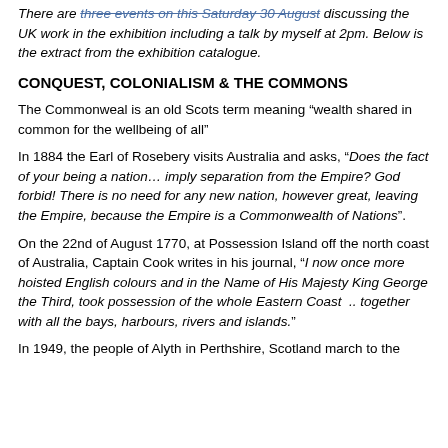There are three events on this Saturday 30 August discussing the UK work in the exhibition including a talk by myself at 2pm. Below is the extract from the exhibition catalogue.
CONQUEST, COLONIALISM & THE COMMONS
The Commonweal is an old Scots term meaning “wealth shared in common for the wellbeing of all”
In 1884 the Earl of Rosebery visits Australia and asks, “Does the fact of your being a nation… imply separation from the Empire? God forbid! There is no need for any new nation, however great, leaving the Empire, because the Empire is a Commonwealth of Nations”.
On the 22nd of August 1770, at Possession Island off the north coast of Australia, Captain Cook writes in his journal, “I now once more hoisted English colours and in the Name of His Majesty King George the Third, took possession of the whole Eastern Coast .. together with all the bays, harbours, rivers and islands.”
In 1949, the people of Alyth in Perthshire, Scotland march to the